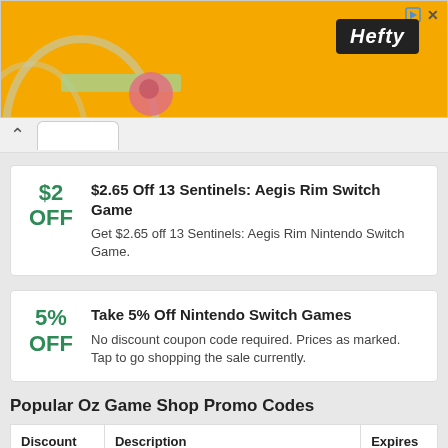[Figure (illustration): Orange Hefty advertisement banner with logo and decorative arc shape]
$2 OFF – $2.65 Off 13 Sentinels: Aegis Rim Switch Game – Get $2.65 off 13 Sentinels: Aegis Rim Nintendo Switch Game.
5% OFF – Take 5% Off Nintendo Switch Games – No discount coupon code required. Prices as marked. Tap to go shopping the sale currently.
Popular Oz Game Shop Promo Codes
| Discount | Description | Expires |
| --- | --- | --- |